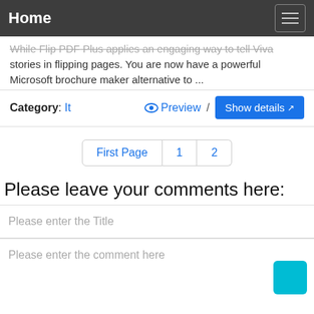Home
While Flip PDF Plus applies an engaging way to tell Viva stories in flipping pages. You are now have a powerful Microsoft brochure maker alternative to ...
Category: It   Preview / Show details
First Page  1  2
Please leave your comments here:
Please enter the Title
Please enter the comment here